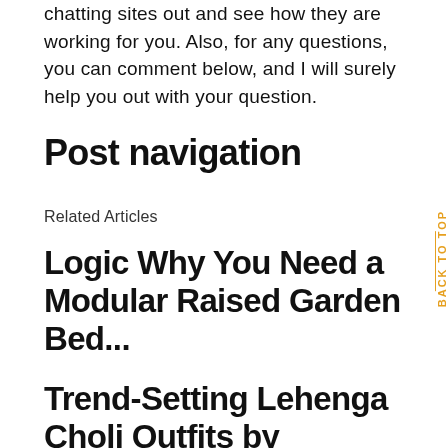chatting sites out and see how they are working for you. Also, for any questions, you can comment below, and I will surely help you out with your question.
Post navigation
Related Articles
Logic Why You Need a Modular Raised Garden Bed...
Trend-Setting Lehenga Choli Outfits by Vasansi...
Etsy...